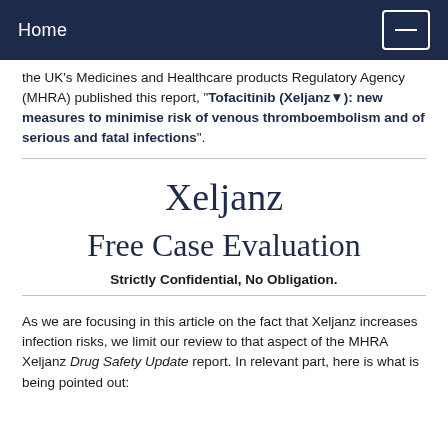Home
the UK's Medicines and Healthcare products Regulatory Agency (MHRA) published this report, "Tofacitinib (Xeljanz▼): new measures to minimise risk of venous thromboembolism and of serious and fatal infections".
Xeljanz
Free Case Evaluation
Strictly Confidential, No Obligation.
As we are focusing in this article on the fact that Xeljanz increases infection risks, we limit our review to that aspect of the MHRA Xeljanz Drug Safety Update report. In relevant part, here is what is being pointed out: